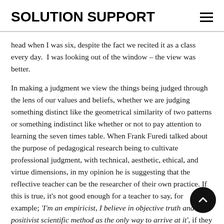SOLUTION SUPPORT
head when I was six, despite the fact we recited it as a class every day.  I was looking out of the window – the view was better.
In making a judgment we view the things being judged through the lens of our values and beliefs, whether we are judging something distinct like the geometrical similarity of two patterns or something indistinct like whether or not to pay attention to learning the seven times table. When Frank Furedi talked about the purpose of pedagogical research being to cultivate professional judgment, with technical, aesthetic, ethical, and virtue dimensions, in my opinion he is suggesting that the reflective teacher can be the researcher of their own practice. If this is true, it's not good enough for a teacher to say, for example; 'I'm an empiricist, I believe in objective truth and the positivist scientific method as the only way to arrive at it', if they don't open up their beliefs and values to critique. Holding to epistemic virtues* demands it, whether the critique comes from within or